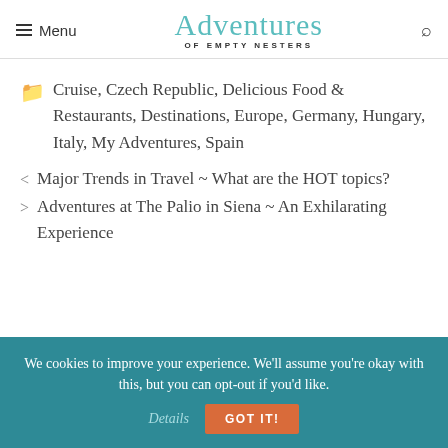Menu | Adventures of Empty Nesters
Cruise, Czech Republic, Delicious Food & Restaurants, Destinations, Europe, Germany, Hungary, Italy, My Adventures, Spain
< Major Trends in Travel ~ What are the HOT topics?
> Adventures at The Palio in Siena ~ An Exhilarating Experience
We cookies to improve your experience. We'll assume you're okay with this, but you can opt-out if you'd like. Details GOT IT!